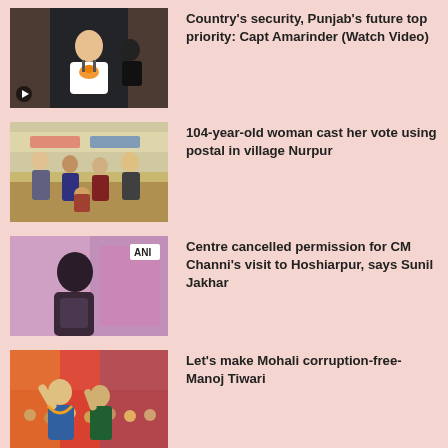[Figure (photo): News thumbnail: Man speaking at podium with BJP lotus symbol, dark background]
Country's security, Punjab's future top priority: Capt Amarinder (Watch Video)
[Figure (photo): News thumbnail: People gathered outdoors, elderly woman casting postal vote]
104-year-old woman cast her vote using postal in village Nurpur
[Figure (photo): News thumbnail: Man speaking, ANI badge in corner, pink/purple background]
Centre cancelled permission for CM Channi's visit to Hoshiarpur, says Sunil Jakhar
[Figure (photo): News thumbnail: Politician raising hand at outdoor rally with crowd]
Let's make Mohali corruption-free- Manoj Tiwari